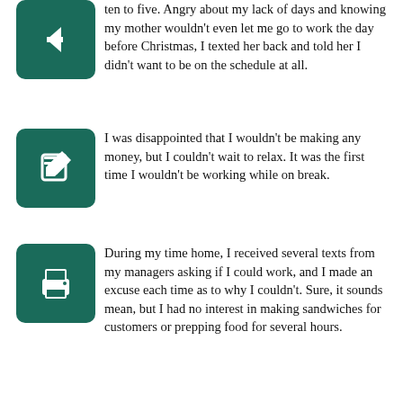ten to five. Angry about my lack of days and knowing my mother wouldn't even let me go to work the day before Christmas, I texted her back and told her I didn't want to be on the schedule at all.
I was disappointed that I wouldn't be making any money, but I couldn't wait to relax. It was the first time I wouldn't be working while on break.
During my time home, I received several texts from my managers asking if I could work, and I made an excuse each time as to why I couldn't. Sure, it sounds mean, but I had no interest in making sandwiches for customers or prepping food for several hours.
A couple days after Christmas, however, my friend asked if I could cover his shift. I contemplated his question for several minutes before responding with a 'yes.' I guess the spirit of the holiday had put me in a good mood.
You're probably asking yourself why any of this matters. I mean, who cares that I spent a lot of money on gifts and whether or not I worked over break? Well, let me tell you why this is important.
Have you ever noticed what Christmas does to society? It's the time of year when everyone forgets their troubles and just enjoys the holiday. People are able to spend time with friends and